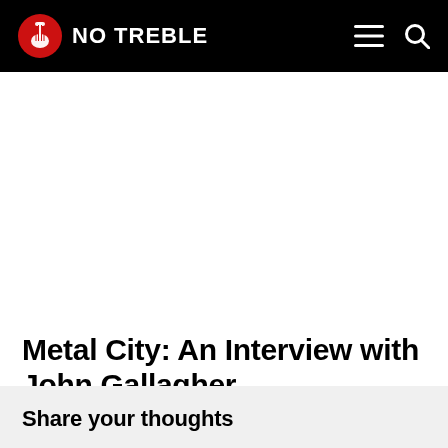NO TREBLE
Metal City: An Interview with John Gallagher
Share your thoughts